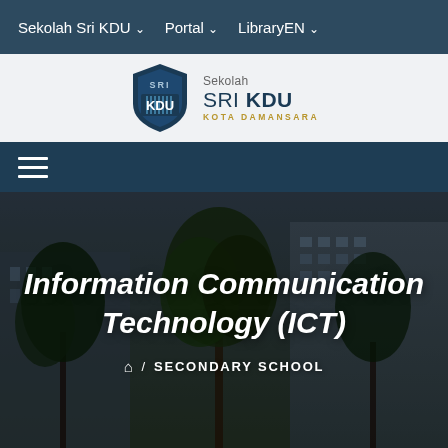Sekolah Sri KDU ∨   Portal ∨   LibraryEN ∨
[Figure (logo): Sekolah Sri KDU shield logo with text 'Sekolah SRI KDU KOTA DAMANSARA']
[Figure (other): Hamburger menu icon (three horizontal lines) on dark blue navigation bar]
[Figure (photo): Background photo of school building exterior with trees, dark and moody lighting]
Information Communication Technology (ICT)
⌂  /  SECONDARY SCHOOL